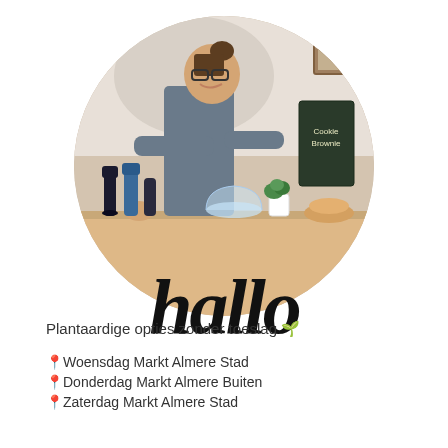[Figure (photo): Circular cropped photo of a smiling woman with glasses behind a café counter, with bottles, pastries, and café items on the counter. The word 'hallo' in large hand-lettered black script overlays the bottom of the circle.]
Plantaardige opties zonder toeslag 🌱
📍Woensdag Markt Almere Stad
📍Donderdag Markt Almere Buiten
📍Zaterdag Markt Almere Stad